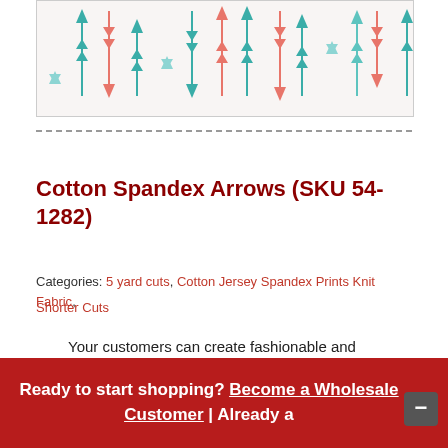[Figure (photo): Close-up photo of Cotton Spandex Arrows fabric with teal/aqua and coral/pink arrow patterns on white background]
Cotton Spandex Arrows (SKU 54-1282)
Categories: 5 yard cuts, Cotton Jersey Spandex Prints Knit Fabric, Shorter Cuts
Your customers can create fashionable and comfortable apparel with cotton spandex in various prints. Made of 95% cotton and 5%
Ready to start shopping? Become a Wholesale Customer | Already a